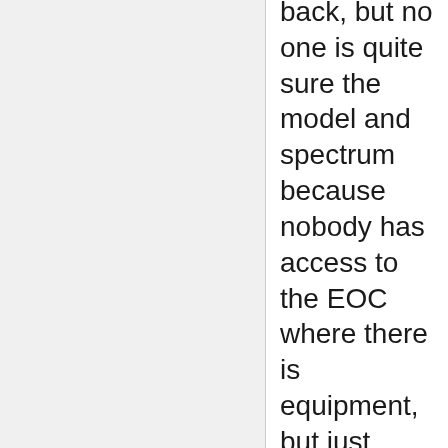back, but no one is quite sure the model and spectrum because nobody has access to the EOC where there is equipment, but just